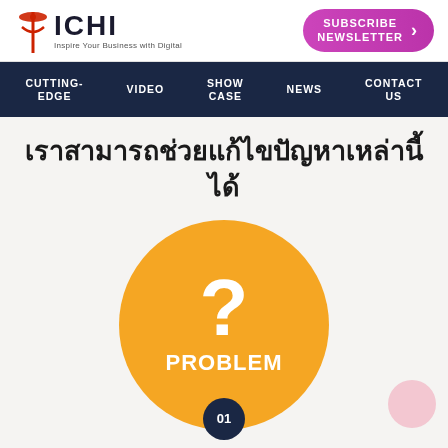ICHI — Inspire Your Business with Digital | SUBSCRIBE NEWSLETTER
CUTTING-EDGE | VIDEO | SHOW CASE | NEWS | CONTACT US
เราสามารถช่วยแก้ไขปัญหาเหล่านี้ได้
[Figure (illustration): Orange circle with a large white question mark and the text PROBLEM in white, with a dark navy circle badge showing '01' at the bottom center. A pink circle is partially visible at the bottom right.]